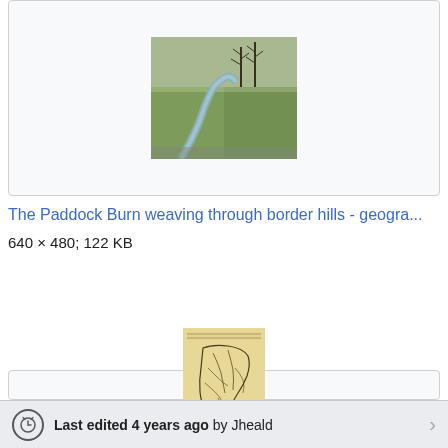[Figure (photo): Aerial or elevated view of the Paddock Burn stream weaving through green border hills landscape]
The Paddock Burn weaving through border hills - geogra...
640 × 480; 122 KB
[Figure (map): Old geological map from The Quarterly Journal of the Geological Society of London, printed on aged yellowish paper with black line drawings showing topographic/drainage features]
The Quarterly journal of the Geological Society of Londo...
1,211 × 2,081; 336 KB
Last edited 4 years ago by Jheald